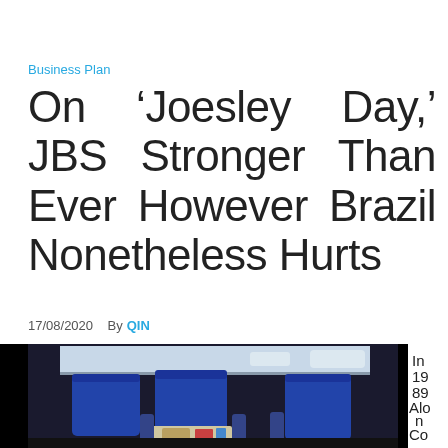Business Plan
On ‘Joesley Day,’ JBS Stronger Than Ever However Brazil Nonetheless Hurts
17/08/2020  By  QIN
[Figure (photo): Interior of an airplane business class cabin showing blue seats and tray tables, with black areas on either side of the image. To the right of the image, partial text reads: In 19 89 Alo n Co be]
In 19 89 Alo n Co be